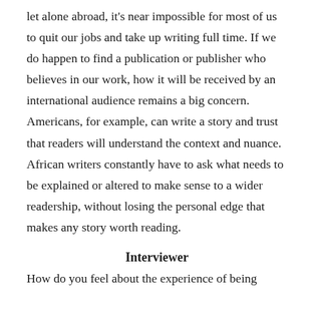let alone abroad, it's near impossible for most of us to quit our jobs and take up writing full time. If we do happen to find a publication or publisher who believes in our work, how it will be received by an international audience remains a big concern. Americans, for example, can write a story and trust that readers will understand the context and nuance. African writers constantly have to ask what needs to be explained or altered to make sense to a wider readership, without losing the personal edge that makes any story worth reading.
Interviewer
How do you feel about the experience of being